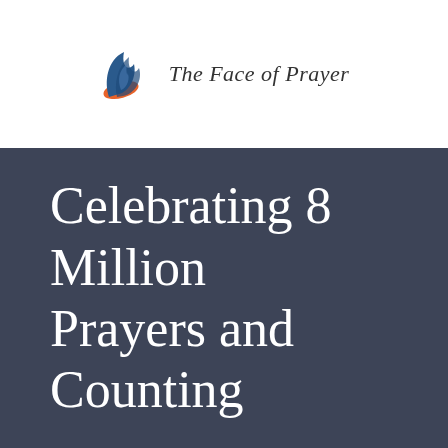[Figure (logo): The Face of Prayer logo: a stylized flame icon in blue and orange brushstroke style, followed by italic text 'The Face of Prayer']
Celebrating 8 Million Prayers and Counting